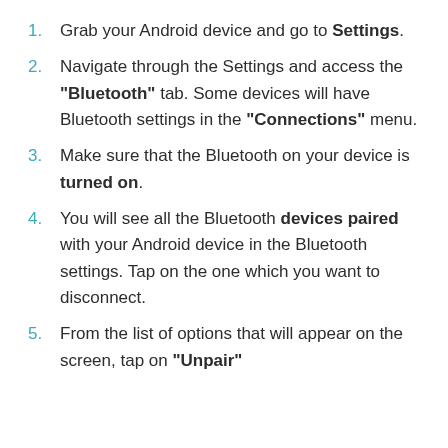Grab your Android device and go to Settings.
Navigate through the Settings and access the "Bluetooth" tab. Some devices will have Bluetooth settings in the "Connections" menu.
Make sure that the Bluetooth on your device is turned on.
You will see all the Bluetooth devices paired with your Android device in the Bluetooth settings. Tap on the one which you want to disconnect.
From the list of options that will appear on the screen, tap on "Unpair"